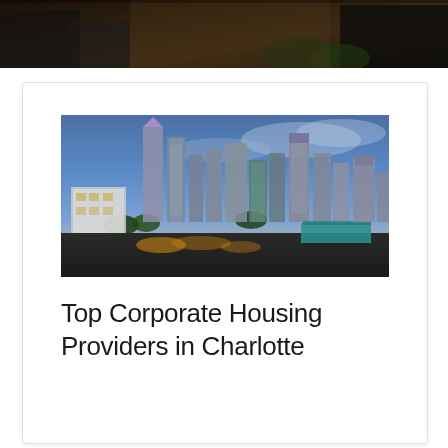[Figure (photo): Aerial/overhead dark photo of rooftops and trees, partially visible as a banner at the top of the page]
[Figure (photo): Panoramic aerial photo of Charlotte, NC skyline at dusk/twilight with illuminated skyscrapers and city streets]
Top Corporate Housing Providers in Charlotte